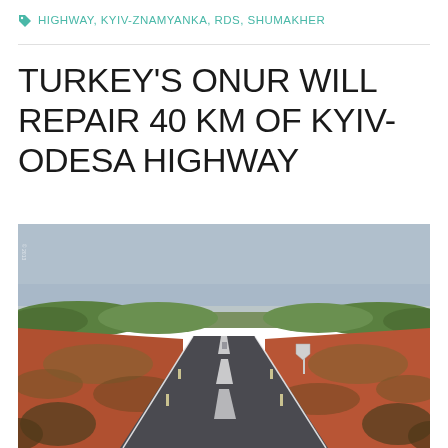HIGHWAY, KYIV-ZNAMYANKA, RDS, SHUMAKHER
TURKEY'S ONUR WILL REPAIR 40 KM OF KYIV-ODESA HIGHWAY
[Figure (photo): A long straight highway road stretching into the distance through flat scrubland with red earth shoulders, green shrubs and trees on either side, under a hazy sky. A road sign is visible on the right side.]